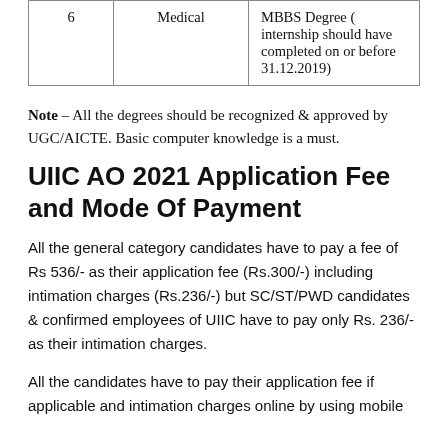| 6 | Medical | MBBS Degree ( internship should have completed on or before 31.12.2019) |
Note – All the degrees should be recognized & approved by UGC/AICTE. Basic computer knowledge is a must.
UIIC AO 2021 Application Fee and Mode Of Payment
All the general category candidates have to pay a fee of Rs 536/- as their application fee (Rs.300/-) including intimation charges (Rs.236/-) but SC/ST/PWD candidates & confirmed employees of UIIC have to pay only Rs. 236/- as their intimation charges.
All the candidates have to pay their application fee if applicable and intimation charges online by using mobile